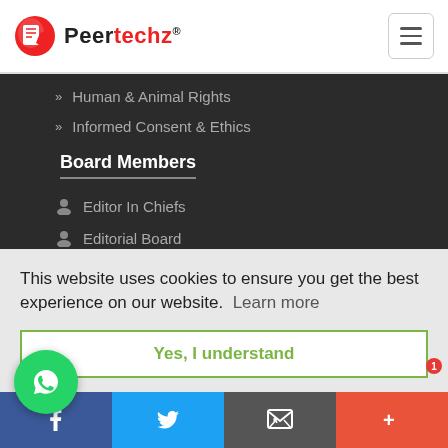Peertechz
Human & Animal Rights
Informed Consent & Ethics
Board Members
Editor In Chiefs
Editorial Board
Reviewer Board
Special Issues
This website uses cookies to ensure you get the best experience on our website.  Learn more
Yes, I understand
Feedback